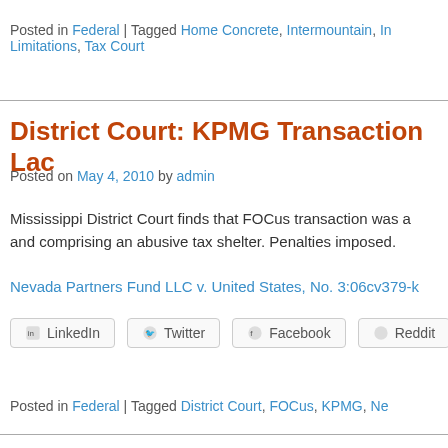Posted in Federal | Tagged Home Concrete, Intermountain, I..., Limitations, Tax Court
District Court: KPMG Transaction Lac...
Posted on May 4, 2010 by admin
Mississippi District Court finds that FOCus transaction was a... and comprising an abusive tax shelter. Penalties imposed.
Nevada Partners Fund LLC v. United States, No. 3:06cv379-h...
[Figure (other): Social sharing buttons: LinkedIn, Twitter, Facebook, Reddit]
Posted in Federal | Tagged District Court, FOCus, KPMG, Ne...
Proudly powered by WordPress
Custom Design by Matthew Design